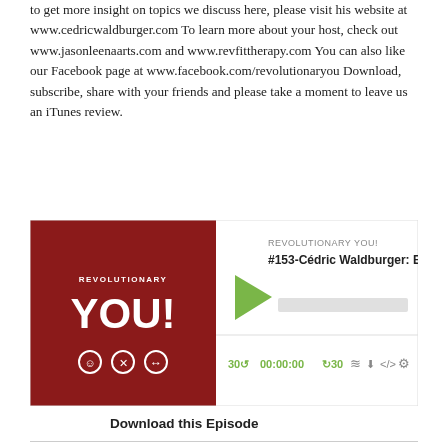to get more insight on topics we discuss here, please visit his website at www.cedricwaldburger.com To learn more about your host, check out www.jasonleenaarts.com and www.revfittherapy.com You can also like our Facebook page at www.facebook.com/revolutionaryou Download, subscribe, share with your friends and please take a moment to leave us an iTunes review.
[Figure (screenshot): Podcast player widget for Revolutionary You! episode #153-Cédric Waldburger: Essenti... showing album art in dark red, play button, progress bar, and playback controls showing 00:00:00 time and icons.]
Download this Episode
#152-Cathy MacDonald: Tough Conversations
Nov 8, 2018
Former hostage negotiator, Cathy MacDonald, joins me this week from The Art Of Communication. Cathy brings her extensive and unique professional background into the field of helping others communicate better and more effectively. In this episode, Cathy and I delve into the sensitive and frequently challenging conversations we need to have with our friends and family as it relates to our goals. Since many people struggle with having health